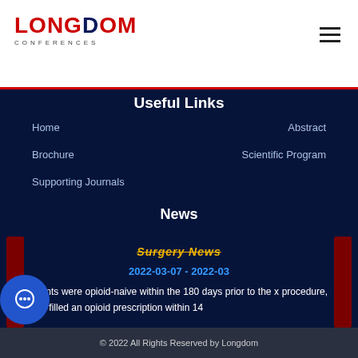[Figure (logo): Longdom Conferences logo with red and dark blue text]
Useful Links
Home
Abstract
Brochure
Scientific Program
Supporting Journals
News
Surgery News
2022-03-07 - 2022-03
atients were opioid-naive within the 180 days prior to the x procedure, and filled an opioid prescription within 14
© 2022 All Rights Reserved by Longdom